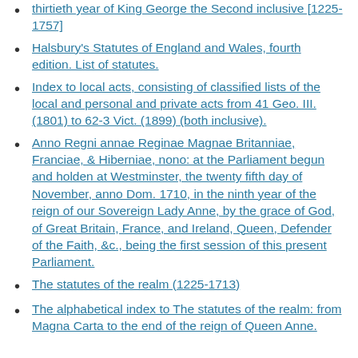thirtieth year of King George the Second inclusive [1225-1757]
Halsbury's Statutes of England and Wales, fourth edition. List of statutes.
Index to local acts, consisting of classified lists of the local and personal and private acts from 41 Geo. III. (1801) to 62-3 Vict. (1899) (both inclusive).
Anno Regni annae Reginae Magnae Britanniae, Franciae, & Hiberniae, nono: at the Parliament begun and holden at Westminster, the twenty fifth day of November, anno Dom. 1710, in the ninth year of the reign of our Sovereign Lady Anne, by the grace of God, of Great Britain, France, and Ireland, Queen, Defender of the Faith, &c., being the first session of this present Parliament.
The statutes of the realm (1225-1713)
The alphabetical index to The statutes of the realm: from Magna Carta to the end of the reign of Queen Anne.